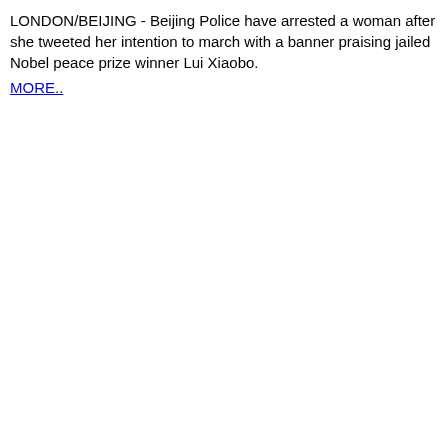LONDON/BEIJING - Beijing Police have arrested a woman after she tweeted her intention to march with a banner praising jailed Nobel peace prize winner Lui Xiaobo.
MORE..